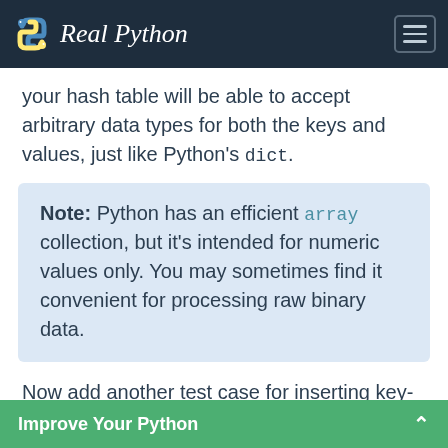Real Python
your hash table will be able to accept arbitrary data types for both the keys and values, just like Python's dict.
Note: Python has an efficient array collection, but it's intended for numeric values only. You may sometimes find it convenient for processing raw binary data.
Now add another test case for inserting key-value pairs into your hash table using the familiar square bracket syntax:
Improve Your Python